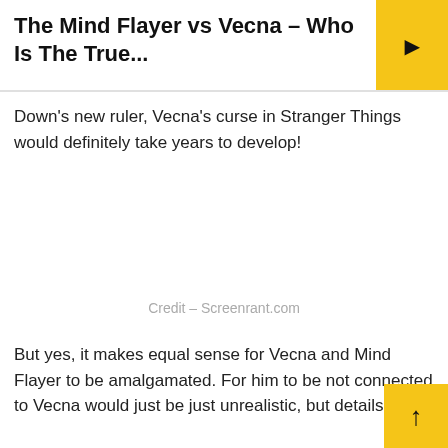The Mind Flayer vs Vecna – Who Is The True...
Down's new ruler, Vecna's curse in Stranger Things would definitely take years to develop!
Credit – Screenrant.com
But yes, it makes equal sense for Vecna and Mind Flayer to be amalgamated. For him to be not connected to Vecna would just be just unrealistic, but details about